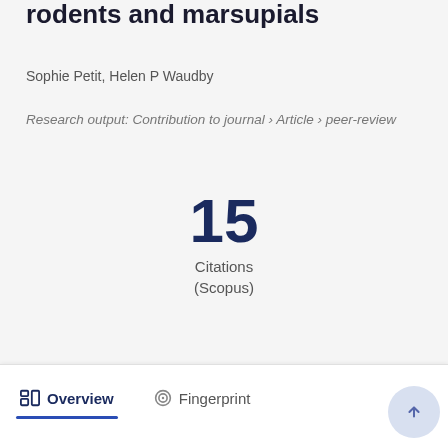rodents and marsupials
Sophie Petit, Helen P Waudby
Research output: Contribution to journal › Article › peer-review
15
Citations
(Scopus)
Overview
Fingerprint